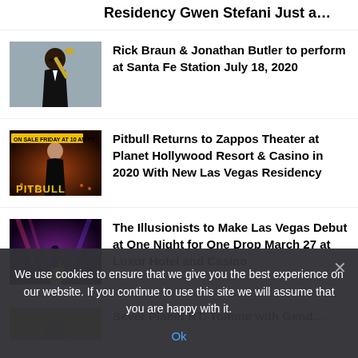Residency  Gwen Stefani  Just a…
[Figure (photo): Man in sunglasses holding a trumpet, wearing a dark suit]
Rick Braun & Jonathan Butler to perform at Santa Fe Station July 18, 2020
[Figure (photo): Pitbull promotional poster with text ON SALE FRIDAY AT 10 AM PT]
Pitbull Returns to Zappos Theater at Planet Hollywood Resort & Casino in 2020 With New Las Vegas Residency
[Figure (photo): Stage performance with fire and dramatic lighting]
The Illusionists to Make Las Vegas Debut at One Night for One Drop March 27 at Luxor Hotel and Casino
[Figure (photo): Partial thumbnail of a fourth article]
Partially visible fourth article title
We use cookies to ensure that we give you the best experience on our website. If you continue to use this site we will assume that you are happy with it.
Ok